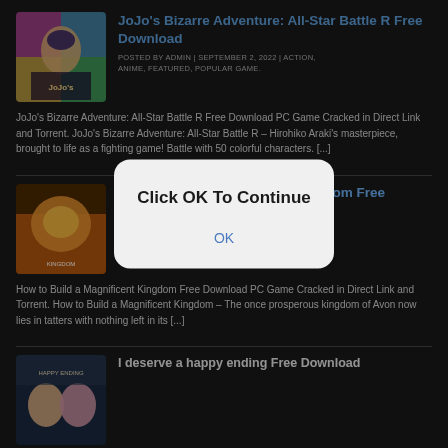JoJo's Bizarre Adventure: All-Star Battle R Free Download
POSTED BY ADMIN | SEPTEMBER 2, 2022 | ACTION, ANIME, FEATURED, POPULAR GAME.
JoJo's Bizarre Adventure: All-Star Battle R Free Download PC Game Cracked in Direct Link and Torrent. JoJo's Bizarre Adventure: All-Star Battle R – Hirohiko Araki's masterpiece, brought to life as a fighting game! Battle with 50 colorful characters. [...]
[Figure (screenshot): Modal dialog overlay with dark background. White rounded rectangle popup reads 'Click OK To Continue' in bold black, with blue 'OK' button text below. Behind the modal, partially visible: second post about 'How to Build a Magnificent Kingdom Free Download' with game thumbnail.]
I deserve a happy ending Free Download